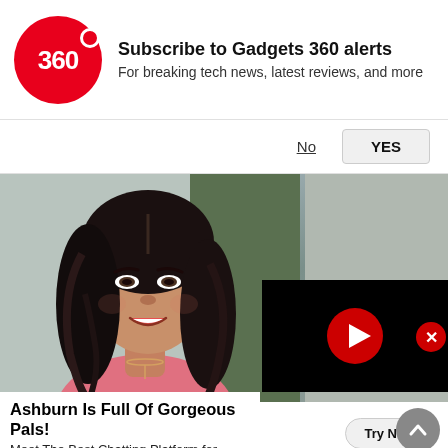[Figure (logo): Gadgets 360 red circular logo with '360' text and dot]
Subscribe to Gadgets 360 alerts
For breaking tech news, latest reviews, and more
No   YES
[Figure (photo): Photo of a woman with long dark wavy hair, smiling, wearing a pink top and cross necklace, with blurred outdoor background]
[Figure (screenshot): Black video player overlay with red YouTube-style play button]
Ashburn Is Full Of Gorgeous Pals!
Meet The Best Chatting Platform for People
AmourFeel | Sponsored
Try Now